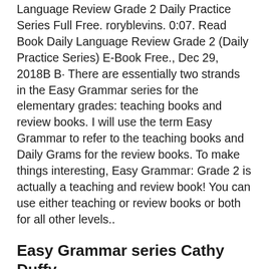Language Review Grade 2 Daily Practice Series Full Free. roryblevins. 0:07. Read Book Daily Language Review Grade 2 (Daily Practice Series) E-Book Free., Dec 29, 2018B B· There are essentially two strands in the Easy Grammar series for the elementary grades: teaching books and review books. I will use the term Easy Grammar to refer to the teaching books and Daily Grams for the review books. To make things interesting, Easy Grammar: Grade 2 is actually a teaching and review book! You can use either teaching or review books or both for all other levels..
Easy Grammar series Cathy Duffy